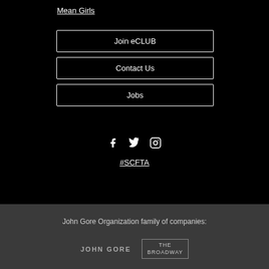Mean Girls
Join eCLUB
Contact Us
Jobs
[Figure (illustration): Social media icons: Facebook, Twitter, Instagram]
#SCFTA
John Gore Organization family of companies:
[Figure (logo): John Gore logo text]
[Figure (logo): The Broadway logo in a bordered box]